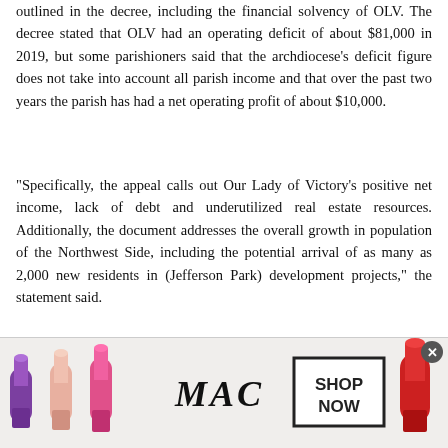outlined in the decree, including the financial solvency of OLV. The decree stated that OLV had an operating deficit of about $81,000 in 2019, but some parishioners said that the archdiocese's deficit figure does not take into account all parish income and that over the past two years the parish has had a net operating profit of about $10,000.
“Specifically, the appeal calls out Our Lady of Victory’s positive net income, lack of debt and underutilized real estate resources. Additionally, the document addresses the overall growth in population of the Northwest Side, including the potential arrival of as many as 2,000 new residents in (Jefferson Park) development projects,” the statement said.
It is anticipated that the archdiocese will seek to sell the OLV campus.
[Figure (photo): Advertisement banner for MAC Cosmetics showing multiple lipsticks in purple, pink, and red colors on the left side, MAC logo in italic text in the center, and a 'SHOP NOW' button box on the right. Close button in top-right corner.]